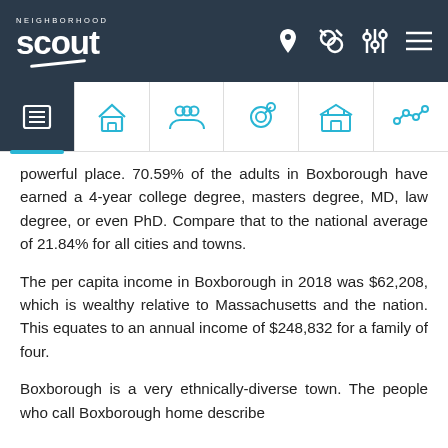NeighborhoodScout navigation header
powerful place. 70.59% of the adults in Boxborough have earned a 4-year college degree, masters degree, MD, law degree, or even PhD. Compare that to the national average of 21.84% for all cities and towns.
The per capita income in Boxborough in 2018 was $62,208, which is wealthy relative to Massachusetts and the nation. This equates to an annual income of $248,832 for a family of four.
Boxborough is a very ethnically-diverse town. The people who call Boxborough home describe